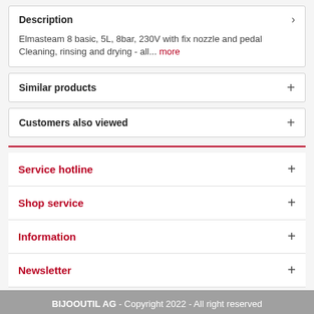Description
Elmasteam 8 basic, 5L, 8bar, 230V with fix nozzle and pedal
Cleaning, rinsing and drying - all... more
Similar products
Customers also viewed
Service hotline
Shop service
Information
Newsletter
BIJOOUTIL AG - Copyright 2022 - All right reserved